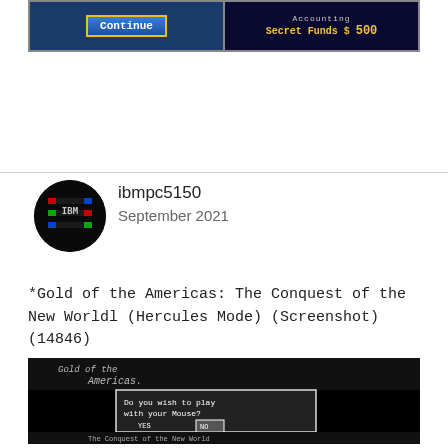[Figure (screenshot): Top portion of a video game screenshot showing a 'Continue' button on the left and 'Secret Funds $ 500' on the right with dark blue backgrounds and yellow text]
[Figure (photo): User avatar - IBM PC 5150 profile picture, circular, dark with colorful IBM logo]
ibmpc5150
September 2021
*Gold of the Americas: The Conquest of the New Worldl (Hercules Mode) (Screenshot) (14846)
[Figure (screenshot): Hercules monochrome screenshot of Gold of the Americas game showing title screen with a dialog box asking 'Do you wish to play with your Mouse?' with YES and NO options]